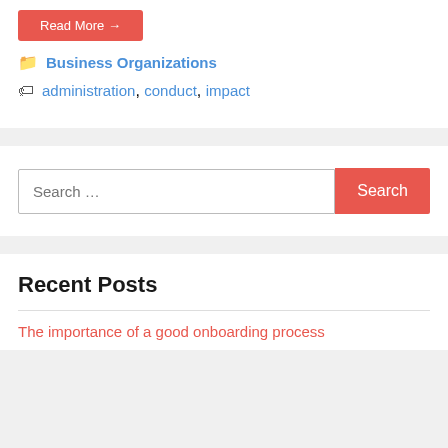Read More →
Business Organizations
administration, conduct, impact
Search …
Recent Posts
The importance of a good onboarding process